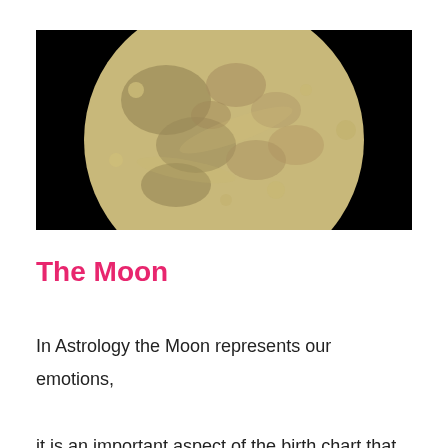[Figure (photo): Close-up photograph of a full moon against a black sky, showing detailed lunar surface with craters and dark maria regions. The moon fills most of the frame with a tan/golden-grey coloring.]
The Moon
In Astrology the Moon represents our emotions, it is an important aspect of the birth chart that shows us a lot of how we are made. Knowing